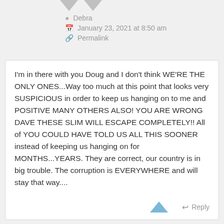Debra
January 23, 2021 at 8:50 am
Permalink
I'm in there with you Doug and I don't think WE'RE THE ONLY ONES...Way too much at this point that looks very SUSPICIOUS in order to keep us hanging on to me and POSITIVE MANY OTHERS ALSO! YOU ARE WRONG DAVE THESE SLIM WILL ESCAPE COMPLETELY!! All of YOU COULD HAVE TOLD US ALL THIS SOONER instead of keeping us hanging on for MONTHS...YEARS. They are correct, our country is in big trouble. The corruption is EVERYWHERE and will stay that way....